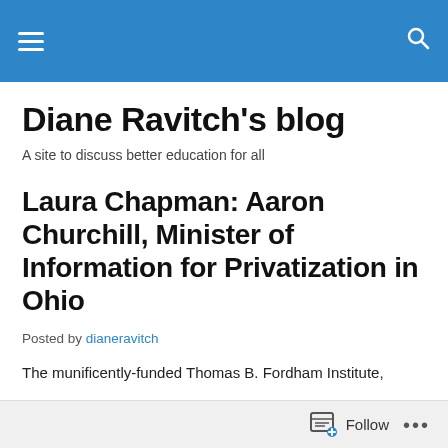Diane Ravitch's blog [navigation header bar]
Diane Ravitch's blog
A site to discuss better education for all
Laura Chapman: Aaron Churchill, Minister of Information for Privatization in Ohio
Posted by dianeravitch
The munificently-funded Thomas B. Fordham Institute,
Follow ...